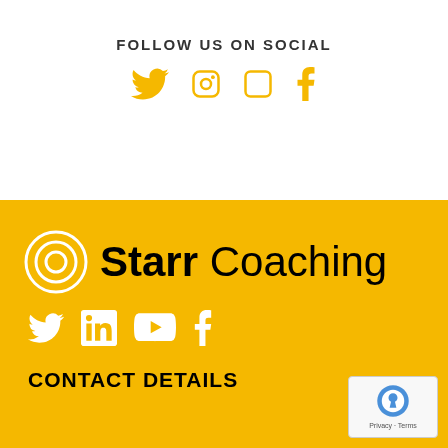FOLLOW US ON SOCIAL
[Figure (illustration): Social media icons (Twitter, Instagram, LinkedIn, Facebook) in gold/yellow color]
[Figure (logo): Starr Coaching logo with circular swirl icon and text on gold background]
[Figure (illustration): Social media icons (Twitter, LinkedIn, YouTube, Facebook) in white on gold background]
CONTACT DETAILS